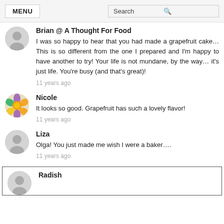MENU  Search
Brian @ A Thought For Food
I was so happy to hear that you had made a grapefruit cake… This is so different from the one I prepared and I'm happy to have another to try! Your life is not mundane, by the way… it's just life. You're busy (and that's great)!
11 years ago
Nicole
It looks so good. Grapefruit has such a lovely flavor!
11 years ago
Liza
Olga! You just made me wish I were a baker….
11 years ago
Radish